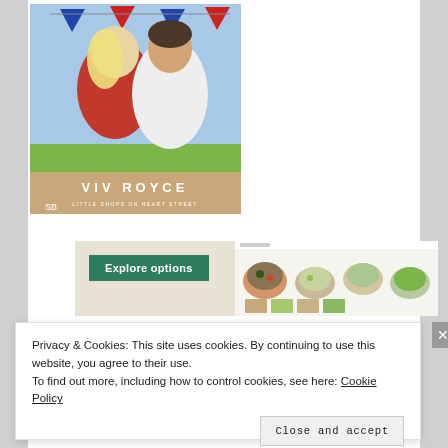[Figure (photo): Book cover for a romance novel by Viv Royce — 'Little Shops on Heart Street'. Shows a couple (blonde woman in red dress and dark-haired man in white shirt) embracing outdoors with bunting flags in blue, red and white. Author name 'VIV ROYCE' and series text 'LITTLE SHOPS ON HEART STREET' at bottom.]
[Figure (screenshot): Website screenshot showing a green 'Explore options' button on a beige background with food photography (bowls of food, salads) on a web page interface to the right.]
Privacy & Cookies: This site uses cookies. By continuing to use this website, you agree to their use. To find out more, including how to control cookies, see here: Cookie Policy
Close and accept